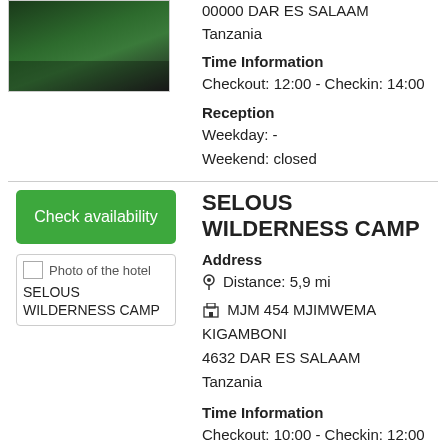[Figure (photo): Photo of the hotel exterior with green lighting at night]
00000 DAR ES SALAAM
Tanzania
Time Information
Checkout: 12:00 - Checkin: 14:00
Reception
Weekday: -
Weekend: closed
Check availability
[Figure (photo): Photo of the hotel SELOUS WILDERNESS CAMP]
SELOUS WILDERNESS CAMP
Address
Distance: 5,9 mi
MJM 454 MJIMWEMA KIGAMBONI
4632 DAR ES SALAAM
Tanzania
Time Information
Checkout: 10:00 - Checkin: 12:00